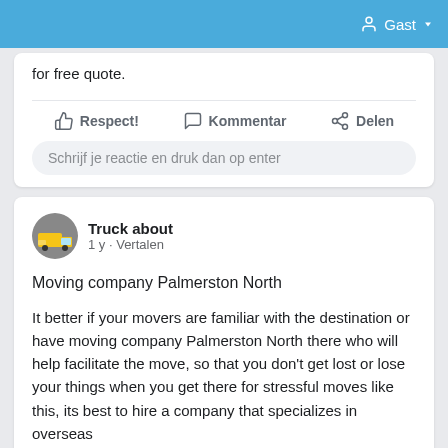Gast
for free quote.
Respect!  Kommentar  Delen
Schrijf je reactie en druk dan op enter
Truck about
1 y - Vertalen
Moving company Palmerston North
It better if your movers are familiar with the destination or have moving company Palmerston North there who will help facilitate the move, so that you don't get lost or lose your things when you get there for stressful moves like this, its best to hire a company that specializes in overseas